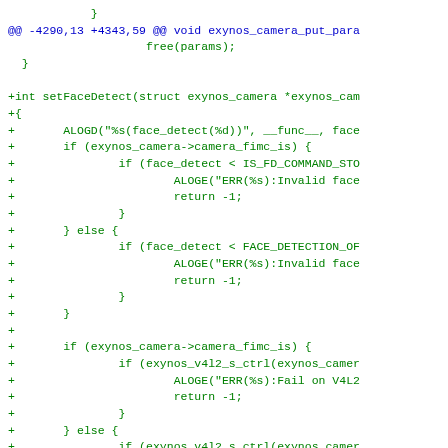[Figure (screenshot): A code diff screenshot showing C source code with added lines (prefixed with '+') in green, and a diff header line in blue. The code shows a setFaceDetect function implementation with camera face detection logic.]